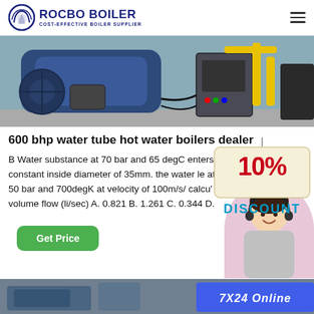ROCBO BOILER — COST-EFFECTIVE BOILER SUPPLIER
[Figure (photo): Industrial water tube hot water boiler equipment in a factory setting, showing blue boiler body, motor, yellow piping, and control panel]
600 bhp water tube hot water boilers dealer
[Figure (infographic): 10% DISCOUNT badge in red and teal text on a hanging tag with a customer service representative photo]
B Water substance at 70 bar and 65 degC enters constant inside diameter of 35mm. the water le at 50 bar and 700degK at velocity of 100m/s/ calcu' volume flow (li/sec) A. 0.821 B. 1.261 C. 0.344 D.
Get Price
[Figure (photo): Bottom strip showing boiler equipment and 7X24 Online badge]
7X24 Online